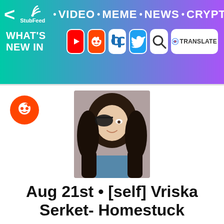[Figure (screenshot): StubFeed website navigation header bar with gradient from teal to purple, containing back arrow, StubFeed logo with wifi icon, navigation links (VIDEO, MEME, NEWS, CRYPTO), hamburger menu, and social media icons row (YouTube, Reddit, Digg, Twitter, Search, Google Translate)]
[Figure (photo): Photo of a person cosplaying as Vriska Serket from Homestuck with an eye patch and dark wavy hair]
Aug 21st • [self] Vriska Serket- Homestuck